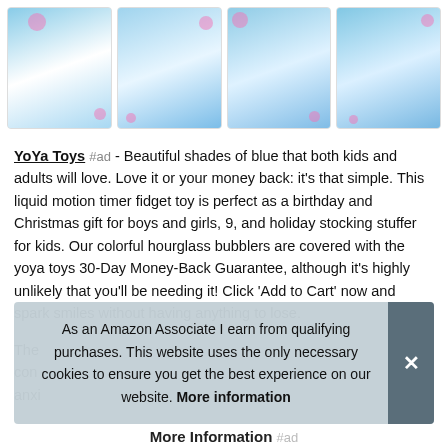[Figure (screenshot): Four product thumbnail images showing a blue liquid motion timer fidget toy with text overlays, arranged in a horizontal strip]
YoYa Toys #ad - Beautiful shades of blue that both kids and adults will love. Love it or your money back: it's that simple. This liquid motion timer fidget toy is perfect as a birthday and Christmas gift for boys and girls, 9, and holiday stocking stuffer for kids. Our colorful hourglass bubblers are covered with the yoya toys 30-Day Money-Back Guarantee, although it's highly unlikely that you'll be needing it! Click 'Add to Cart' now and spark smiles without having anything to lose.
The ... con... anxi...
As an Amazon Associate I earn from qualifying purchases. This website uses the only necessary cookies to ensure you get the best experience on our website. More information
More Information #ad